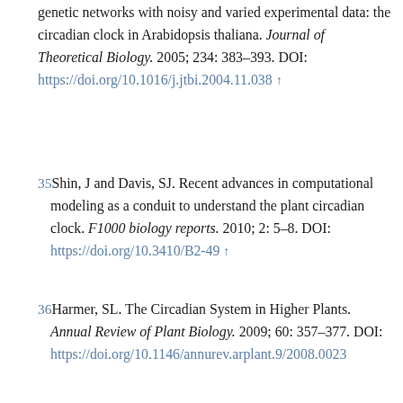genetic networks with noisy and varied experimental data: the circadian clock in Arabidopsis thaliana. Journal of Theoretical Biology. 2005; 234: 383–393. DOI: https://doi.org/10.1016/j.jtbi.2004.11.038 ↑
35 Shin, J and Davis, SJ. Recent advances in computational modeling as a conduit to understand the plant circadian clock. F1000 biology reports. 2010; 2: 5–8. DOI: https://doi.org/10.3410/B2-49 ↑
36 Harmer, SL. The Circadian System in Higher Plants. Annual Review of Plant Biology. 2009; 60: 357–377. DOI: https://doi.org/10.1146/annurev.arplant.9/2008.092...